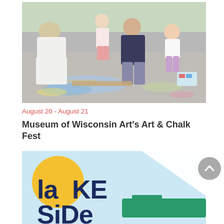[Figure (photo): People drawing chalk art on pavement outdoors. An adult in white clothing and sun hat on the left, a woman smiling and kneeling in center, and two young girls participating. Chalk drawings visible on ground with chalk supplies.]
August 20 - August 21
Museum of Wisconsin Art's Art & Chalk Fest
[Figure (logo): Lakeside logo with bold dark navy text reading 'laKE SiDe' with a yellow circle, light blue background, white triangle shape and teal/green geometric boat-like shape.]